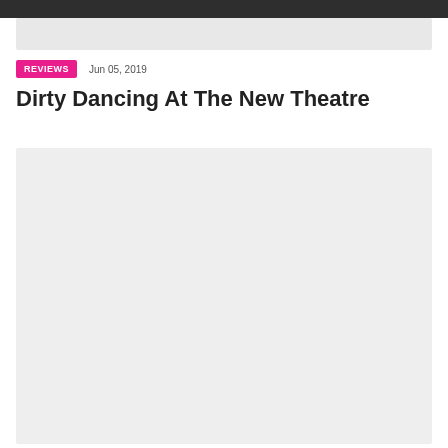[Figure (photo): Top dark navigation bar]
[Figure (photo): Partial image strip at top of article]
REVIEWS   Jun 05, 2019
Dirty Dancing At The New Theatre
[Figure (photo): Large light grey image placeholder area for article photo]